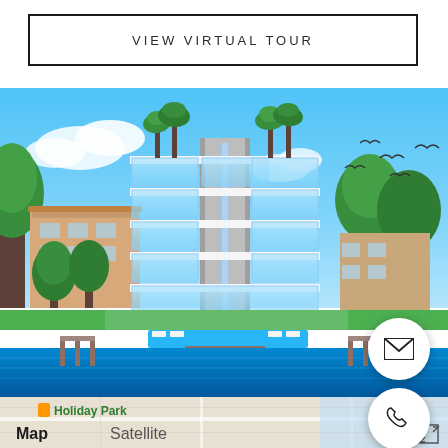VIEW VIRTUAL TOUR
[Figure (photo): Modern luxury waterfront multi-story building with glass facades, rooftop palm trees, swimming pool area, docks extending into blue water, birds flying in blue sky]
[Figure (map): Google Maps strip showing Holiday Park label in green, Map/Satellite tabs, and expand icon]